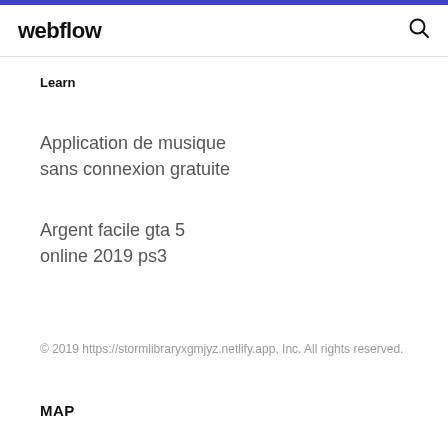webflow
Learn
Application de musique sans connexion gratuite
Argent facile gta 5 online 2019 ps3
© 2019 https://stormlibraryxgmjyz.netlify.app, Inc. All rights reserved.
MAP